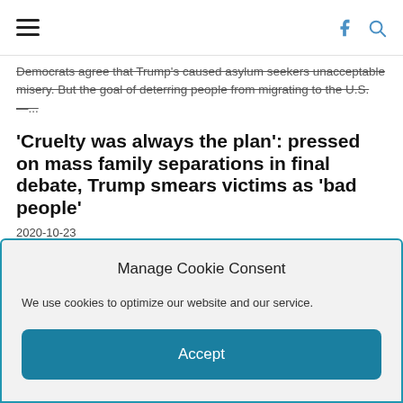[hamburger menu] [facebook icon] [search icon]
Democrats agree that Trump's caused asylum seekers unacceptable misery. But the goal of deterring people from migrating to the U.S. —...
'Cruelty was always the plan': pressed on mass family separations in final debate, Trump smears victims as 'bad people'
2020-10-23
"The Trump immigration agenda is defined by cruelty: it's responsible for six children dying in cages, forced women into unnecessary...
Native American man shot protesting Trump border wall, others tear gassed, arrested by US agents on Indigenous Peoples' Day
2020-10-13
Manage Cookie Consent
We use cookies to optimize our website and our service.
Accept